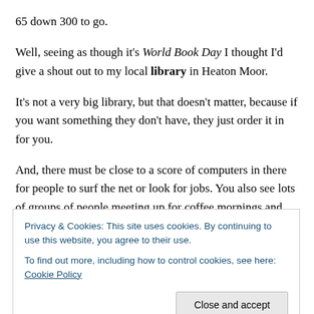65 down 300 to go.
Well, seeing as though it's World Book Day I thought I'd give a shout out to my local library in Heaton Moor.
It's not a very big library, but that doesn't matter, because if you want something they don't have, they just order it in for you.
And, there must be close to a score of computers in there for people to surf the net or look for jobs. You also see lots of groups of people meeting up for coffee mornings and
Privacy & Cookies: This site uses cookies. By continuing to use this website, you agree to their use.
To find out more, including how to control cookies, see here: Cookie Policy
Close and accept
I take my children there quite a lot. Kids can take as many